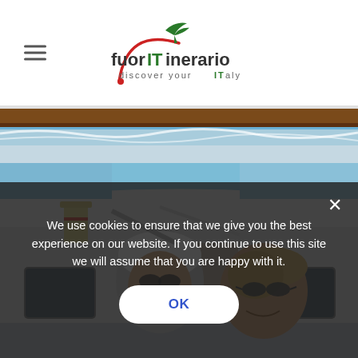fuorITinerario – discover your ITaly
[Figure (photo): Close-up of a boat railing and water with wake/spray visible — top photo strip]
[Figure (photo): Photo of two people smiling on a boat deck, one wearing a white cap and sunglasses, under blue sky]
We use cookies to ensure that we give you the best experience on our website. If you continue to use this site we will assume that you are happy with it.
OK